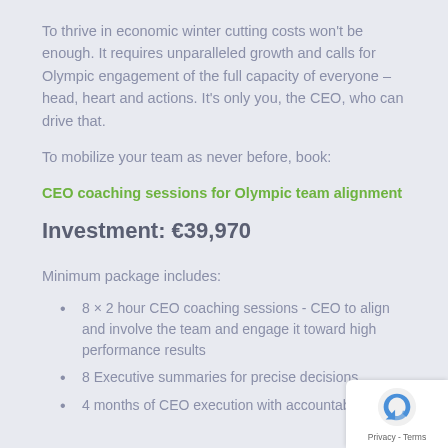To thrive in economic winter cutting costs won't be enough. It requires unparalleled growth and calls for Olympic engagement of the full capacity of everyone – head, heart and actions. It's only you, the CEO, who can drive that.
To mobilize your team as never before, book:
CEO coaching sessions for Olympic team alignment
Investment: €39,970
Minimum package includes:
8 × 2 hour CEO coaching sessions - CEO to align and involve the team and engage it toward high performance results
8 Executive summaries for precise decisions
4 months of CEO execution with accountability